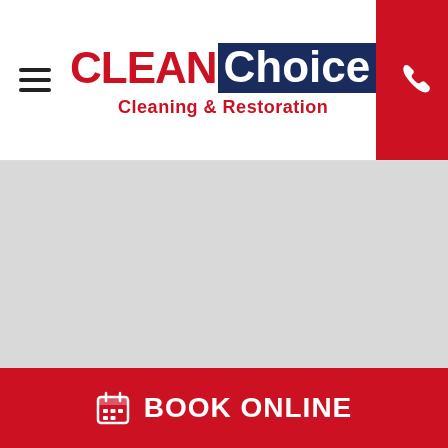[Figure (logo): CleanChoice Cleaning & Restoration logo with hamburger menu icon on left and red phone button on right]
[Figure (map): Light grey map placeholder area]
BOOK ONLINE